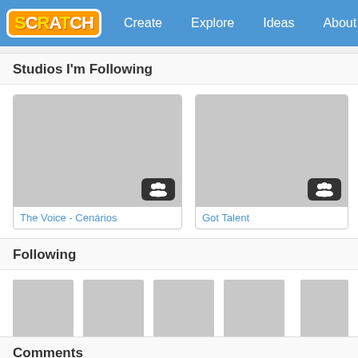SCRATCH | Create | Explore | Ideas | About | Search
Studios I'm Following
[Figure (screenshot): Studio thumbnail placeholder for 'The Voice - Cenários' with group icon]
The Voice - Cenários
[Figure (screenshot): Studio thumbnail placeholder for 'Got Talent' with group icon]
Got Talent
Following
[Figure (screenshot): User avatar thumbnails for tuanlopb, thinkermatt, dennism..., GaryThe..., Be...]
tuanlopb
thinkermatt
dennism...
GaryThe...
Comments